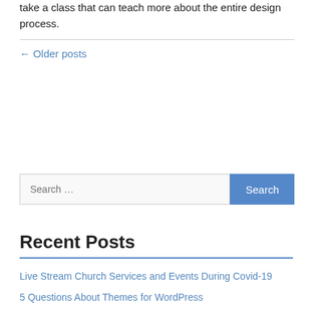take a class that can teach more about the entire design process.
← Older posts
[Figure (other): Search bar with text 'Search …' and a blue 'Search' button]
Recent Posts
Live Stream Church Services and Events During Covid-19
5 Questions About Themes for WordPress